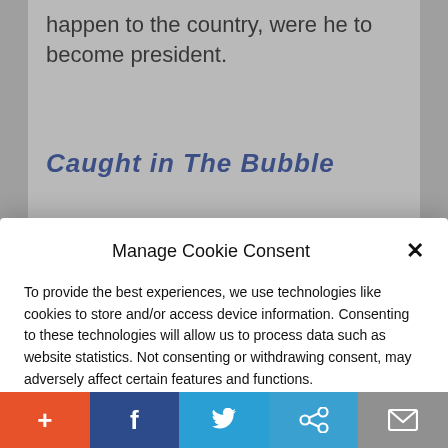happen to the country, were he to become president.
Caught in The Bubble
Manage Cookie Consent
To provide the best experiences, we use technologies like cookies to store and/or access device information. Consenting to these technologies will allow us to process data such as website statistics. Not consenting or withdrawing consent, may adversely affect certain features and functions.
Accept
Cookie Policy   Privacy Policy
the Bureau is akin to meddling in their work.